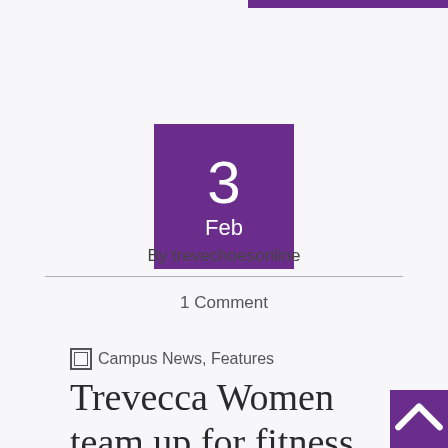3
Feb
By trevechoesonline
1 Comment
Campus News, Features
Trevecca Women team up for fitness challenge